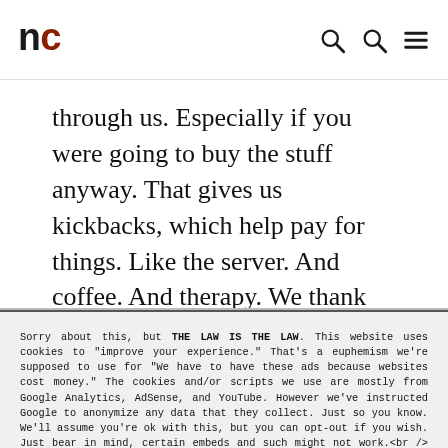nc — logo with navigation icons
through us. Especially if you were going to buy the stuff anyway. That gives us kickbacks, which help pay for things. Like the server. And coffee. And therapy. We thank you.
Sorry about this, but THE LAW IS THE LAW. This website uses cookies to "improve your experience." That's a euphemism we're supposed to use for "We have to have these ads because websites cost money." The cookies and/or scripts we use are mostly from Google Analytics, AdSense, and YouTube. However we've instructed Google to anonymize any data that they collect. Just so you know. We'll assume you're ok with this, but you can opt-out if you wish. Just bear in mind, certain embeds and such might not work.<br /> <br /> Also, please be aware that when we link out to products, we may earn a commission for doing so. Because we're certainly not doing it for our health. See our privacy policy & terms of use for more info than you would ever want to know. – Privacy Policy & Terms of Use
Accept | Decline | Cookie Settings